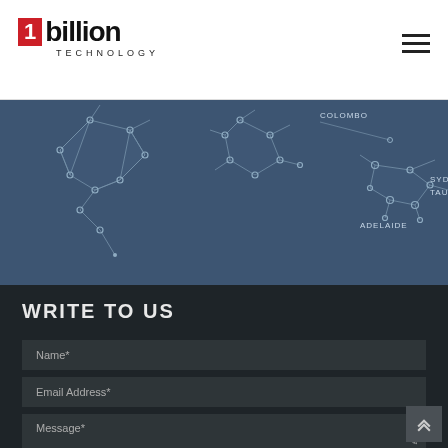[Figure (logo): 1billion Technology logo with red box containing '1' and bold text 'billion', with 'TECHNOLOGY' in spaced lettering below]
[Figure (map): Dark blue world map with network/constellation lines and nodes. Cities labeled: COLOMBO, SYDNEY, TAURANGA, ADELAIDE]
WRITE TO US
Name*
Email Address*
Message*
SUBMIT